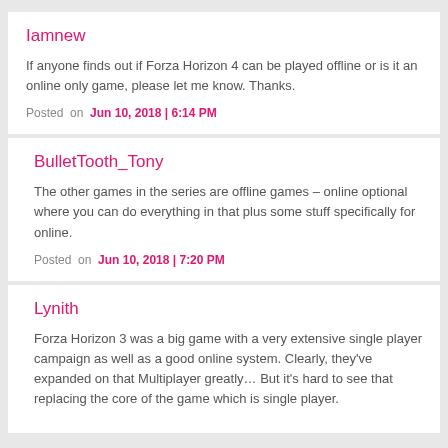Iamnew
If anyone finds out if Forza Horizon 4 can be played offline or is it an online only game, please let me know. Thanks.
Posted on Jun 10, 2018 | 6:14 PM
BulletTooth_Tony
The other games in the series are offline games – online optional where you can do everything in that plus some stuff specifically for online.
Posted on Jun 10, 2018 | 7:20 PM
Lynith
Forza Horizon 3 was a big game with a very extensive single player campaign as well as a good online system. Clearly, they've expanded on that Multiplayer greatly… But it's hard to see that replacing the core of the game which is single player.